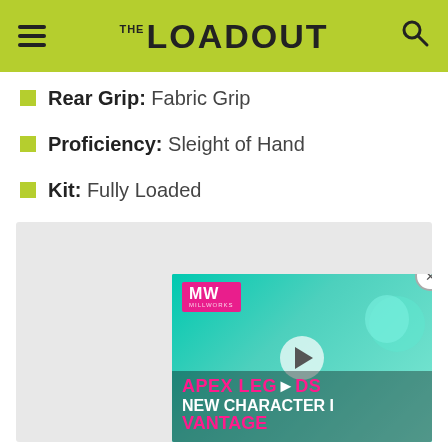THE LOADOUT
Rear Grip: Fabric Grip
Proficiency: Sleight of Hand
Kit: Fully Loaded
[Figure (screenshot): Video advertisement showing 'Apex Legends New Character Vantage' with MW logo, play button overlay, teal background with character art. Includes close (X) button in top right corner of video overlay.]